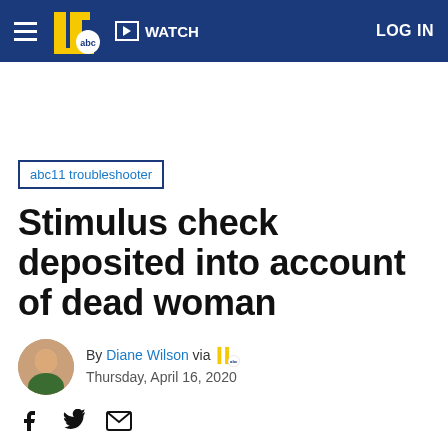WATCH | LOG IN | abc11 with abc logo navigation bar
abc11 troubleshooter
Stimulus check deposited into account of dead woman
By Diane Wilson via [logo]
Thursday, April 16, 2020
[Figure (other): Social sharing icons: Facebook, Twitter, Email]